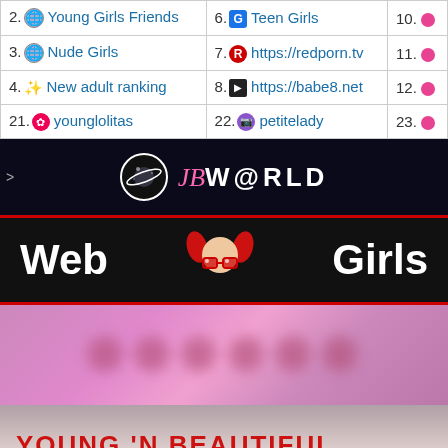| # | Site | # | Site | # |
| --- | --- | --- | --- | --- |
| 2. | Young Girls Friends | 6. | Teen Girls | 10. |
| 3. | Nude Girls | 7. | https://redporn.tv | 11. |
| 4. | New adult ranking | 8. | https://babe8.net | 12. |
| 21. | younglolitas | 22. | petitelady | 23. |
[Figure (logo): JBWorld banner with planet/saturn logo on dark starry background]
[Figure (logo): Web Girls banner with cartoon girl mascot, dark background with red border]
[Figure (photo): Blurred pink background banner with obscured text]
[Figure (photo): Young 'N Beautiful banner with red text on gradient background]
[Figure (logo): Partial LOLI badge/logo on dark purple background]